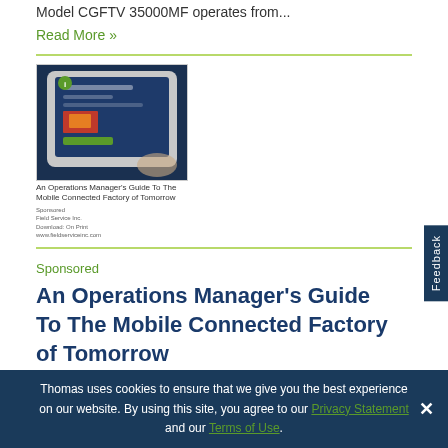Model CGFTV 35000MF operates from...
Read More »
[Figure (photo): Thumbnail image of a white paper cover showing a tablet/iPad with a login screen and the title 'An Operations Manager's Guide To The Mobile Connected Factory of Tomorrow']
An Operations Manager's Guide To The Mobile Connected Factory of Tomorrow
Sponsored
An Operations Manager's Guide To The Mobile Connected Factory of Tomorrow
This white paper provides an overview of mobile
Thomas uses cookies to ensure that we give you the best experience on our website. By using this site, you agree to our Privacy Statement and our Terms of Use.